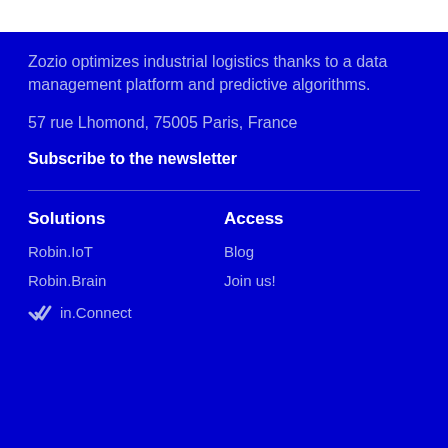Zozio optimizes industrial logistics thanks to a data management platform and predictive algorithms.
57 rue Lhomond, 75005 Paris, France
Subscribe to the newsletter
Solutions
Access
Robin.IoT
Blog
Robin.Brain
Join us!
Robin.Connect